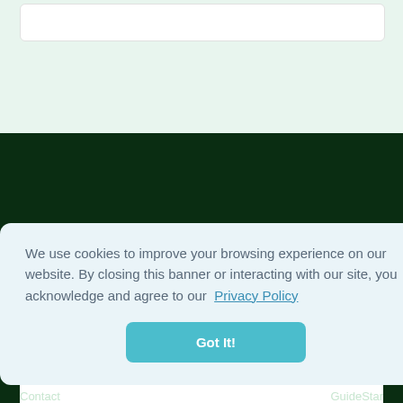[Figure (screenshot): White input field on light green background at top of page]
Join our Newsletter
We use cookies to improve your browsing experience on our website. By closing this banner or interacting with our site, you acknowledge and agree to our Privacy Policy
Got It!
Contact
GuideStar